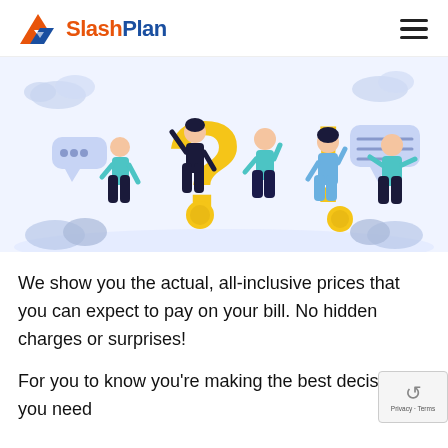SlashPlan
[Figure (illustration): Colorful flat illustration of five people around large yellow question mark and exclamation mark symbols, with speech bubbles and coins, on a light blue/white background]
We show you the actual, all-inclusive prices that you can expect to pay on your bill. No hidden charges or surprises!
For you to know you're making the best decision, you need